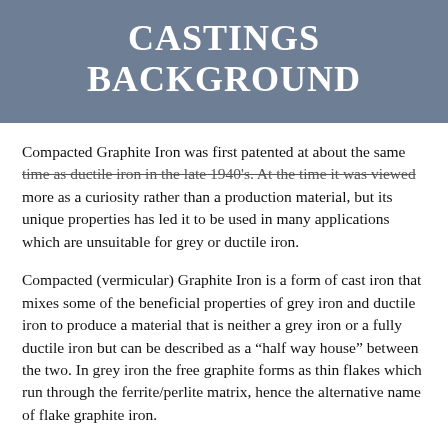CASTINGS BACKGROUND
Compacted Graphite Iron was first patented at about the same time as ductile iron in the late 1940's. At the time it was viewed more as a curiosity rather than a production material, but its unique properties has led it to be used in many applications which are unsuitable for grey or ductile iron.
Compacted (vermicular) Graphite Iron is a form of cast iron that mixes some of the beneficial properties of grey iron and ductile iron to produce a material that is neither a grey iron or a fully ductile iron but can be described as a “half way house” between the two. In grey iron the free graphite forms as thin flakes which run through the ferrite/perlite matrix, hence the alternative name of flake graphite iron.